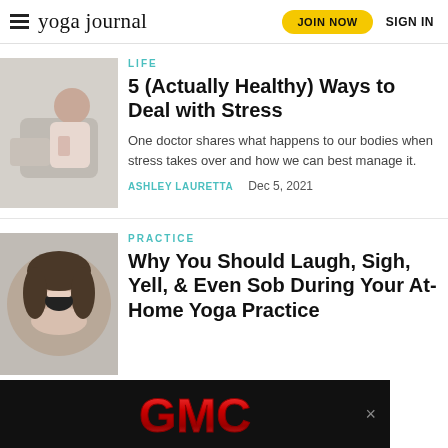yoga journal  JOIN NOW  SIGN IN
LIFE
5 (Actually Healthy) Ways to Deal with Stress
One doctor shares what happens to our bodies when stress takes over and how we can best manage it.
ASHLEY LAURETTA   Dec 5, 2021
PRACTICE
Why You Should Laugh, Sigh, Yell, & Even Sob During Your At-Home Yoga Practice
[Figure (logo): GMC logo on black advertisement banner]